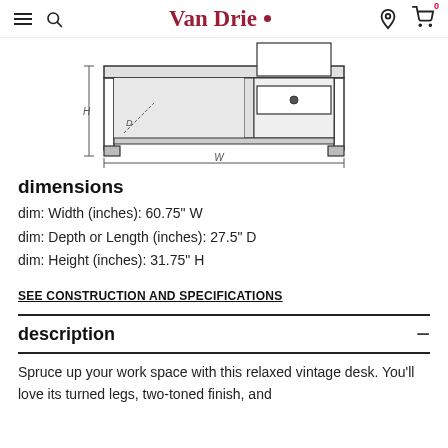Van Drie
[Figure (engineering-diagram): Front-view engineering/dimensional diagram of a desk with legs, drawers, and dimension markers W, D, H indicated]
dimensions
dim: Width (inches): 60.75" W
dim: Depth or Length (inches): 27.5" D
dim: Height (inches): 31.75" H
SEE CONSTRUCTION AND SPECIFICATIONS
description
Spruce up your work space with this relaxed vintage desk. You'll love its turned legs, two-toned finish, and